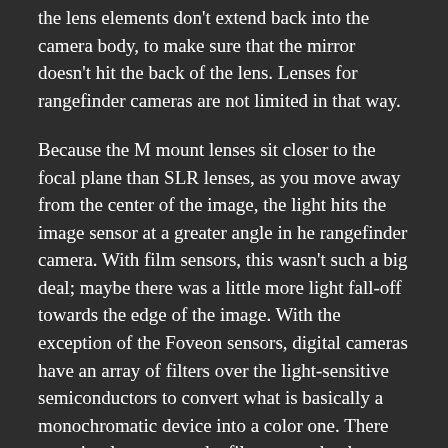the lens elements don't extend back into the camera body, to make sure that the mirror doesn't hit the back of the lens. Lenses for rangefinder cameras are not limited in that way.
Because the M mount lenses sit closer to the focal plane than SLR lenses, as you move away from the center of the image, the light hits the image sensor at a greater angle in he rangefinder camera. With film sensors, this wasn't such a big deal; maybe there was a little more light fall-off towards the edge of the image. With the exception of the Foveon sensors, digital cameras have an array of filters over the light-sensitive semiconductors to convert what is basically a monochromatic device into a color one. There are microlenses over the filters to make the sensor more efficient. These lenses don't work right when the light